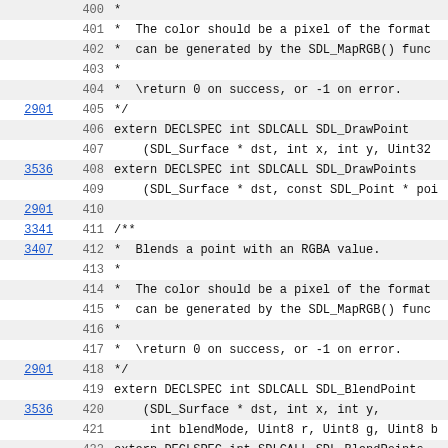| ref | line | code |
| --- | --- | --- |
|  | 400 | * |
|  | 401 | *   The color should be a pixel of the format |
|  | 402 | *  can be generated by the SDL_MapRGB() func |
|  | 403 | * |
|  | 404 | *  \return 0 on success, or -1 on error. |
| 2901 | 405 | */ |
|  | 406 | extern DECLSPEC int SDLCALL SDL_DrawPoint |
|  | 407 |     (SDL_Surface * dst, int x, int y, Uint32 |
| 3536 | 408 | extern DECLSPEC int SDLCALL SDL_DrawPoints |
|  | 409 |     (SDL_Surface * dst, const SDL_Point * poi |
| 2901 | 410 |  |
| 3341 | 411 | /** |
| 3407 | 412 | *  Blends a point with an RGBA value. |
|  | 413 | * |
|  | 414 | *  The color should be a pixel of the format |
|  | 415 | *  can be generated by the SDL_MapRGB() func |
|  | 416 | * |
|  | 417 | *  \return 0 on success, or -1 on error. |
| 2901 | 418 | */ |
|  | 419 | extern DECLSPEC int SDLCALL SDL_BlendPoint |
| 3536 | 420 |     (SDL_Surface * dst, int x, int y, |
|  | 421 |      int blendMode, Uint8 r, Uint8 g, Uint8 b |
|  | 422 | extern DECLSPEC int SDLCALL SDL_BlendPoints |